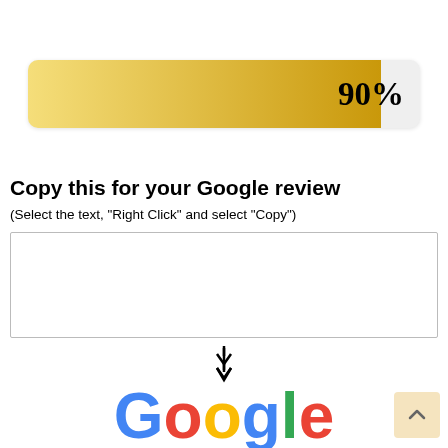[Figure (infographic): A horizontal progress bar showing 90% filled with a gold/yellow gradient, displaying '90%' label on the right side]
Copy this for your Google review
(Select the text, "Right Click" and select "Copy")
[Figure (other): Empty white text box with border for entering review text]
[Figure (other): Downward double arrow pointing to the Google logo text at the bottom]
[Figure (logo): Google logo text in multicolor (blue, red, yellow, blue, green, red)]
[Figure (other): Back to top button with upward chevron arrow, beige/tan background]